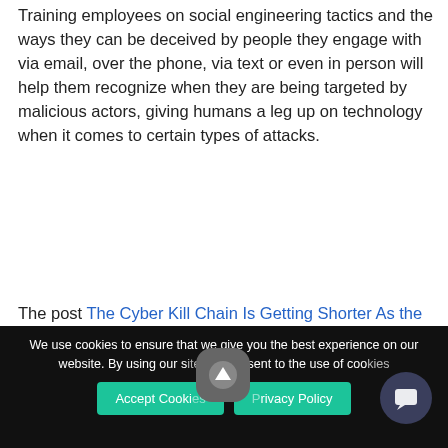Training employees on social engineering tactics and the ways they can be deceived by people they engage with via email, over the phone, via text or even in person will help them recognize when they are being targeted by malicious actors, giving humans a leg up on technology when it comes to certain types of attacks.
The post The Cyber Kill Chain Is Getting Shorter As the Skills Gap Widens appeared first on Security Intelligence.
[Figure (screenshot): Chat popup widget showing avatar group of three people and message 'Got any questions? We're happy to help.' with close button]
We use cookies to ensure that we give you the best experience on our website. By using our s[ite] you consent to the use of coo[kies]